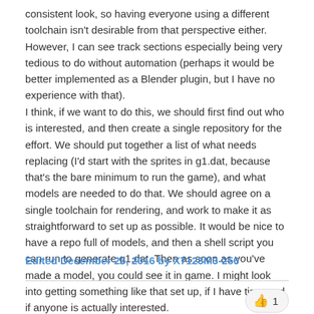consistent look, so having everyone using a different toolchain isn't desirable from that perspective either. However, I can see track sections especially being very tedious to do without automation (perhaps it would be better implemented as a Blender plugin, but I have no experience with that).
I think, if we want to do this, we should first find out who is interested, and then create a single repository for the effort. We should put together a list of what needs replacing (I'd start with the sprites in g1.dat, because that's the bare minimum to run the game), and what models are needed to do that. We should agree on a single toolchain for rendering, and work to make it as straightforward to set up as possible. It would be nice to have a repo full of models, and then a shell script you can run to generate g1.dat. Then as soon as you've made a model, you could see it in game. I might look into getting something like that set up, if I have time and if anyone is actually interested.
Edited December 25, 2016 by X7123M3-256